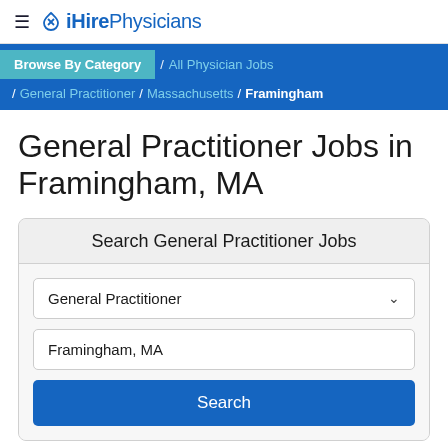[Figure (logo): iHirePhysicians logo with hamburger menu icon]
Browse By Category / All Physician Jobs / General Practitioner / Massachusetts / Framingham
General Practitioner Jobs in Framingham, MA
Search General Practitioner Jobs
General Practitioner
Framingham, MA
Search